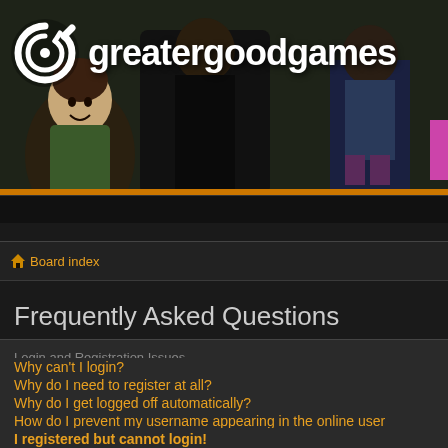[Figure (illustration): Greater Good Games website header banner with illustrated comic-style characters and logo. White swirl logo icon on left, bold white 'greatergoodgames' text on right, dark background with character illustrations.]
Board index
Frequently Asked Questions
Login and Registration Issues
Why can't I login?
Why do I need to register at all?
Why do I get logged off automatically?
How do I prevent my username appearing in the online user listings?
I've lost my password!
I registered but cannot login!
I registered in the past but cannot login any more?!